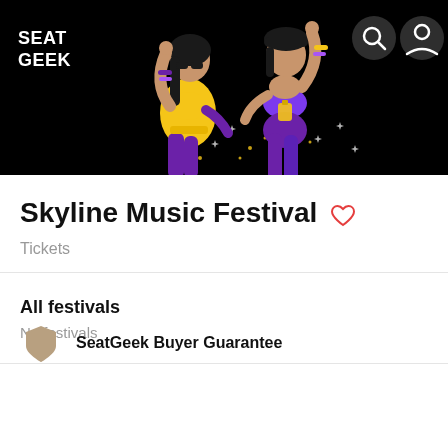[Figure (illustration): SeatGeek app header with black background showing two illustrated women dancing in purple and gold colors with sparkles. SeatGeek logo in top left, search and user icons in top right.]
Skyline Music Festival
Tickets
All festivals
No festivals
SeatGeek Buyer Guarantee